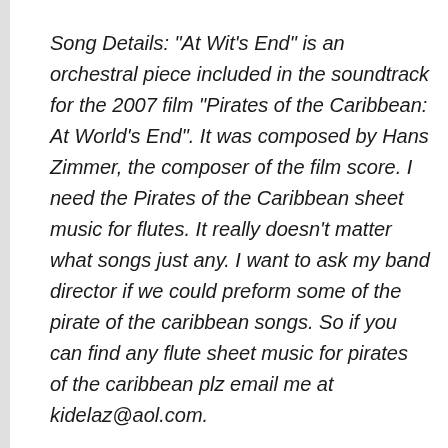Song Details: "At Wit's End" is an orchestral piece included in the soundtrack for the 2007 film "Pirates of the Caribbean: At World's End". It was composed by Hans Zimmer, the composer of the film score. I need the Pirates of the Caribbean sheet music for flutes. It really doesn't matter what songs just any. I want to ask my band director if we could preform some of the pirate of the caribbean songs. So if you can find any flute sheet music for pirates of the caribbean plz email me at kidelaz@aol.com.